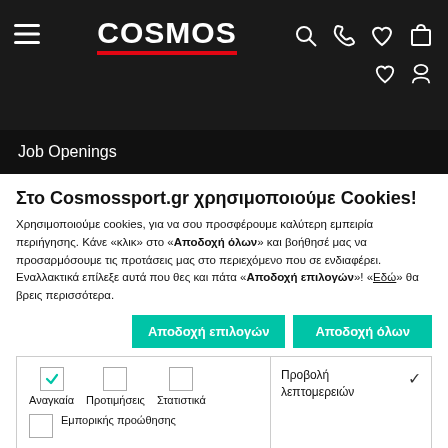COSMOS — navigation bar with hamburger menu, logo, search, phone, heart, bag, wishlist, account icons
Job Openings
Στο Cosmossport.gr χρησιμοποιούμε Cookies!
Χρησιμοποιούμε cookies, για να σου προσφέρουμε καλύτερη εμπειρία περιήγησης. Κάνε «κλικ» στο «Αποδοχή όλων» και βοήθησέ μας να προσαρμόσουμε τις προτάσεις μας στο περιεχόμενο που σε ενδιαφέρει. Εναλλακτικά επίλεξε αυτά που θες και πάτα «Αποδοχή επιλογών»! «Εδώ» θα βρεις περισσότερα.
Αποδοχή επιλογών | Αποδοχή όλων
| Αναγκαία | Προτιμήσεις | Στατιστικά | Προβολή λεπτομερειών |
| --- | --- | --- | --- |
| ☑ | ☐ | ☐ |  |
| ☐ Εμπορικής προώθησης |  |  |  |